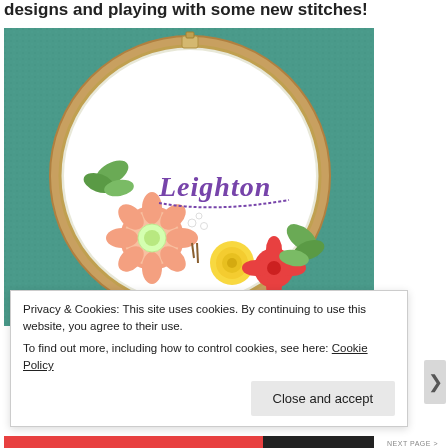designs and playing with some new stitches!
[Figure (photo): An embroidery hoop on teal/blue woven fabric background. Inside the hoop on white fabric is the name 'Leighton' embroidered in purple cursive script, with colorful embroidered flowers below including pink, yellow, and red blooms with green leaves.]
Privacy & Cookies: This site uses cookies. By continuing to use this website, you agree to their use.
To find out more, including how to control cookies, see here: Cookie Policy
Close and accept